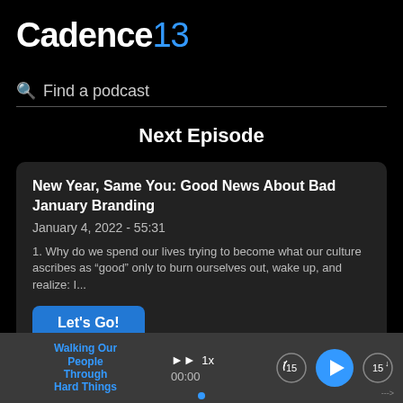Cadence13
Find a podcast
Next Episode
New Year, Same You: Good News About Bad January Branding
January 4, 2022 - 55:31

1. Why do we spend our lives trying to become what our culture ascribes as “good” only to burn ourselves out, wake up, and realize: I...
Let's Go!
Walking Our People Through Hard Things
►► 1x
00:00